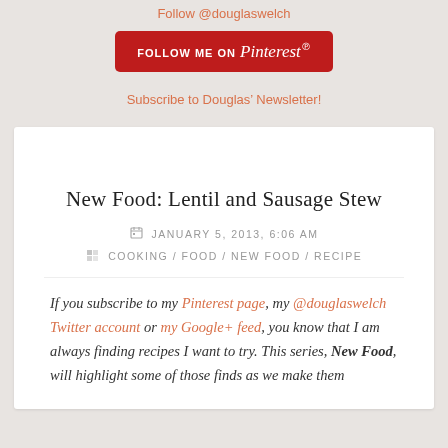Follow @douglaswelch
[Figure (logo): Pinterest Follow Me On button - red rounded rectangle with FOLLOW ME ON Pinterest text in white]
Subscribe to Douglas' Newsletter!
New Food: Lentil and Sausage Stew
JANUARY 5, 2013, 6:06 AM
COOKING / FOOD / NEW FOOD / RECIPE
If you subscribe to my Pinterest page, my @douglaswelch Twitter account or my Google+ feed, you know that I am always finding recipes I want to try. This series, New Food, will highlight some of those finds as we make them